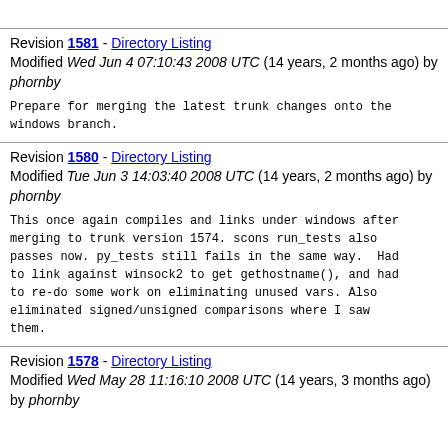Revision 1581 - Directory Listing
Modified Wed Jun 4 07:10:43 2008 UTC (14 years, 2 months ago) by phornby
Prepare for merging the latest trunk changes onto the windows branch.
Revision 1580 - Directory Listing
Modified Tue Jun 3 14:03:40 2008 UTC (14 years, 2 months ago) by phornby
This once again compiles and links under windows after merging to trunk version 1574. scons run_tests also passes now. py_tests still fails in the same way.  Had to link against winsock2 to get gethostname(), and had to re-do some work on eliminating unused vars. Also eliminated signed/unsigned comparisons where I saw them.
Revision 1578 - Directory Listing
Modified Wed May 28 11:16:10 2008 UTC (14 years, 3 months ago) by phornby